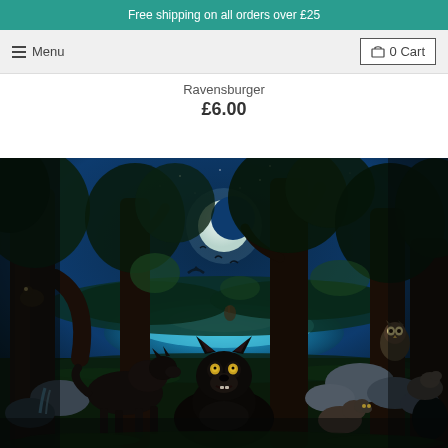Free shipping on all orders over £25
≡ Menu
🛒 0 Cart
Ravensburger
£6.00
[Figure (illustration): Fantasy illustration of wolves in a moonlit forest scene beside a glowing blue lake. Several black wolves are visible in the foreground and background. Large trees frame the scene, with an owl perched in the upper right. A crescent moon and stars are visible in a deep blue sky. Rocky terrain, a small waterfall, and lush green foliage complete the scene.]